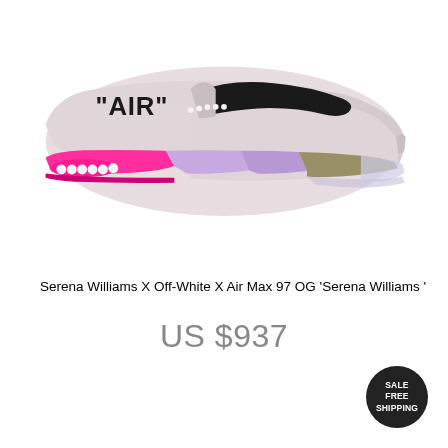[Figure (photo): Nike Air Max 97 OG sneaker in light pink/mauve colorway with black Nike swoosh, 'AIR' text on upper, hot pink and purple gradient air sole unit, and translucent outsole]
Serena Williams X Off-White X Air Max 97 OG 'Serena Williams '
US $937
SALE FREE SHIPPING